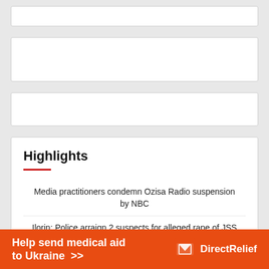[Figure (other): White placeholder bar at top of page]
[Figure (other): White placeholder bar in middle of page]
[Figure (other): White placeholder bar below middle]
Highlights
Media practitioners condemn Ozisa Radio suspension by NBC
Ilorin: Police arraign 2 suspects for alleged rape of JSS students
Terrorists release 3 Kaduna attack victims
Rainstorm kills elderly woman, destroys houses in Kano
[Figure (other): Direct Relief orange advertisement banner: Help send medical aid to Ukraine >>]